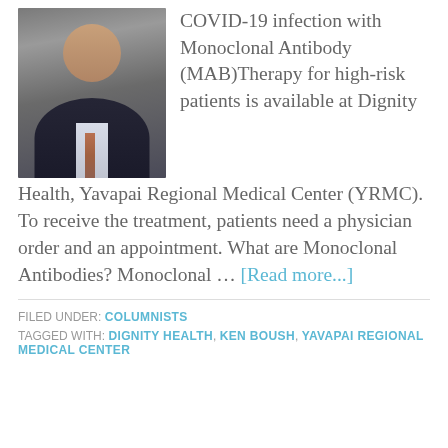[Figure (photo): Professional headshot of a bald man with a grey beard wearing a dark suit and patterned tie, photographed against a grey background.]
COVID-19 infection with Monoclonal Antibody (MAB)Therapy for high-risk patients is available at Dignity Health, Yavapai Regional Medical Center (YRMC). To receive the treatment, patients need a physician order and an appointment. What are Monoclonal Antibodies? Monoclonal … [Read more...]
FILED UNDER: COLUMNISTS
TAGGED WITH: DIGNITY HEALTH, KEN BOUSH, YAVAPAI REGIONAL MEDICAL CENTER